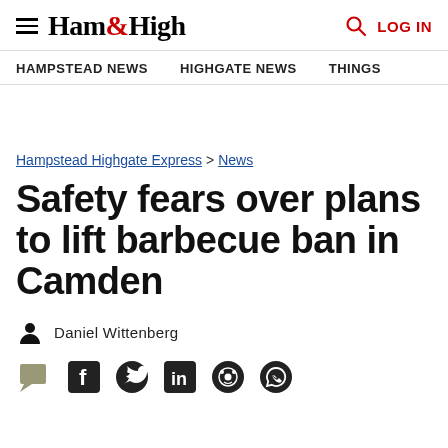Ham&High — LOG IN
HAMPSTEAD NEWS | HIGHGATE NEWS | THINGS
Hampstead Highgate Express > News
Safety fears over plans to lift barbecue ban in Camden
Daniel Wittenberg